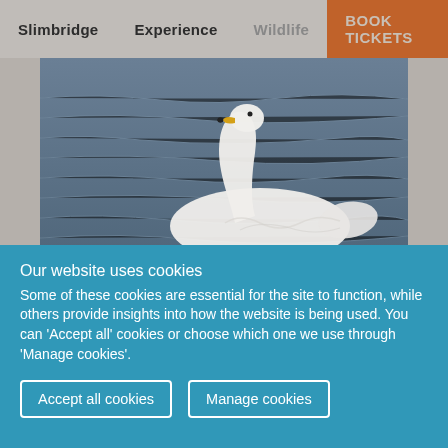Slimbridge  Experience  Wildlife  BOOK TICKETS
[Figure (photo): White swan with yellow beak swimming on blue-grey water, head bent down toward its chest]
Our website uses cookies
Some of these cookies are essential for the site to function, while others provide insights into how the website is being used. You can 'Accept all' cookies or choose which one we use through 'Manage cookies'.
Accept all cookies
Manage cookies